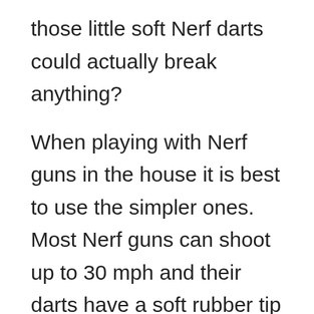those little soft Nerf darts could actually break anything?
When playing with Nerf guns in the house it is best to use the simpler ones. Most Nerf guns can shoot up to 30 mph and their darts have a soft rubber tip that is safe to play with indoors. Nerf even sells some games that are meant to be played inside.
One of  the games is a precision target